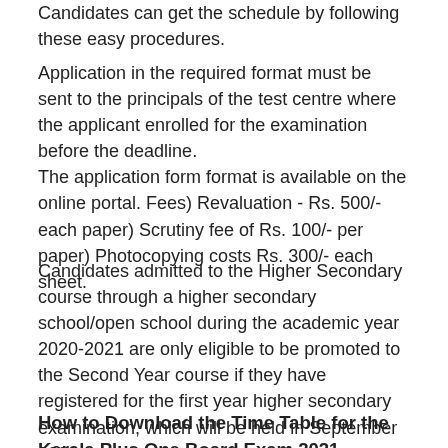Candidates can get the schedule by following these easy procedures.
Application in the required format must be sent to the principals of the test centre where the applicant enrolled for the examination before the deadline. The application form format is available on the online portal. Fees) Revaluation - Rs. 500/- each paper) Scrutiny fee of Rs. 100/- per paper) Photocopying costs Rs. 300/- each sheet.
Candidates admitted to the Higher Secondary course through a higher secondary school/open school during the academic year 2020-2021 are only eligible to be promoted to the Second Year course if they have registered for the first year higher secondary examination, which will be held in September 2021.
How to Download the Time Table for the Kerala Plus One Board Exam 2021